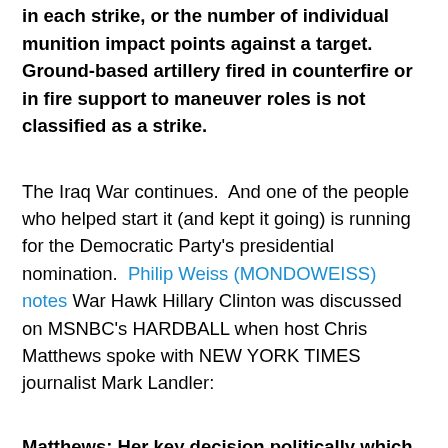in each strike, or the number of individual munition impact points against a target. Ground-based artillery fired in counterfire or in fire support to maneuver roles is not classified as a strike.
The Iraq War continues.  And one of the people who helped start it (and kept it going) is running for the Democratic Party's presidential nomination.  Philip Weiss (MONDOWEISS) notes War Hawk Hillary Clinton was discussed on MSNBC's HARDBALL when host Chris Matthews spoke with NEW YORK TIMES journalist Mark Landler:
Matthews: Her key decision politically which hurt her in the 2008 race was supporting the authorization for going to war in Iraq. How did she turn on that… How did she get to that decision. How has she reviewed it since?
Landler: First of all, She's acknowledged that was a mistake...